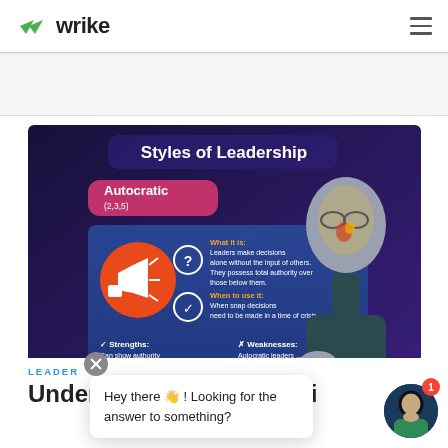wrike
[Figure (infographic): Styles of Leadership infographic showing Autocratic style (2,3,5). Features an illustration of a stern bald man with glasses pointing. Includes sections: What it is: Leaders make decisions alone without the input of others. They possess total authority over those below them. When to use it: When snap decisions need to be made in a time of crisis. Strengths: Can show authority to employees and make quick fixes. Weaknesses: Autocratic leaders are often disliked and employees may feel frustrated and stifled that their... Famous example: Steve Jobs]
LEADERSHIP
Understanding Leadership